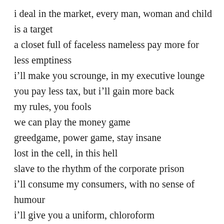i deal in the market, every man, woman and child is a target
a closet full of faceless nameless pay more for less emptiness
i'll make you scrounge, in my executive lounge
you pay less tax, but i'll gain more back
my rules, you fools
we can play the money game
greedgame, power game, stay insane
lost in the cell, in this hell
slave to the rhythm of the corporate prison
i'll consume my consumers, with no sense of humour
i'll give you a uniform, chloroform
sanatize, homogenize, vaporize... you
  I found a few critical theoretical background informations to it. Alessandra Raengo describes the clip like this: